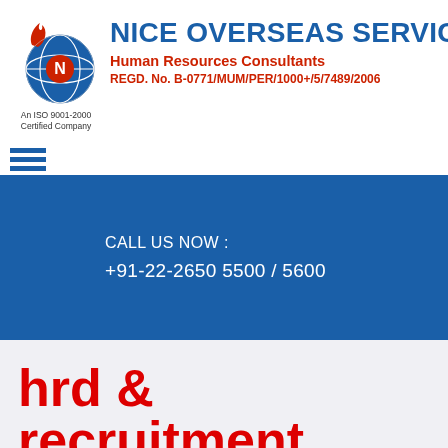[Figure (logo): Nice Overseas Service company logo with globe and flame design, ISO 9001-2000 certified]
NICE OVERSEAS SERVICE
Human Resources Consultants
REGD. No. B-0771/MUM/PER/1000+/5/7489/2006
An ISO 9001-2000 Certified Company
CALL US NOW :
+91-22-2650 5500 / 5600
hrd & recruitment